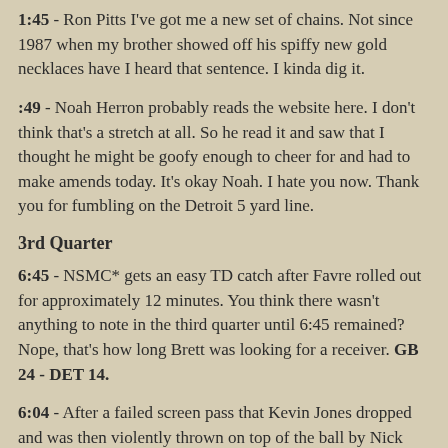1:45 - Ron Pitts  I've got me a new set of chains.  Not since 1987 when my brother showed off his spiffy new gold necklaces have I heard that sentence. I kinda dig it.
:49 - Noah Herron probably reads the website here. I don't think that's a stretch at all. So he read it and saw that I thought he might be goofy enough to cheer for and had to make amends today. It's okay Noah. I hate you now. Thank you for fumbling on the Detroit 5 yard line.
3rd Quarter
6:45 - NSMC* gets an easy TD catch after Favre rolled out for approximately 12 minutes. You think there wasn't anything to note in the third quarter until 6:45 remained? Nope, that's how long Brett was looking for a receiver. GB 24 - DET 14.
6:04 - After a failed screen pass that Kevin Jones dropped and was then violently thrown on top of the ball by Nick Barnett Terry Donahue mentions "Jones wisely gets on dropped pass." Apparently "wisely" equals "violently thrown